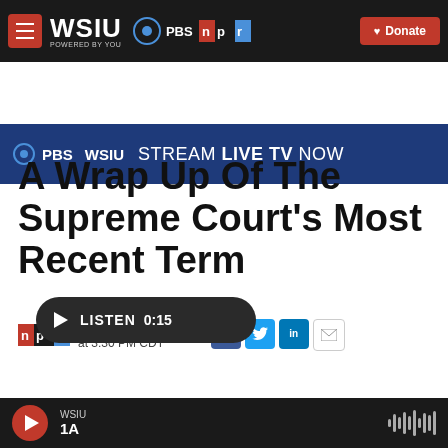WSIU PBS npr | Donate
[Figure (screenshot): PBS WSIU Stream Live TV Now banner]
A Wrap Up Of The Supreme Court's Most Recent Term
Published July 2, 2021 at 3:30 PM CDT
WSIU | 1A